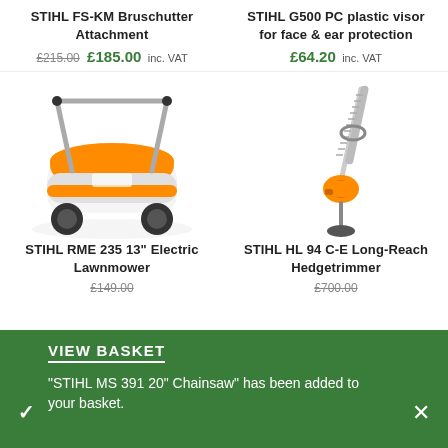STIHL FS-KM Bruschutter Attachment
£215.00 £185.00 inc. VAT
STIHL G500 PC plastic visor for face & ear protection
£64.20 inc. VAT
[Figure (photo): STIHL RME 235 orange and grey electric lawnmower with handle]
[Figure (photo): STIHL HL 94 C-E long-reach hedgetrimmer with long pole and orange engine]
STIHL RME 235 13" Electric Lawnmower
STIHL HL 94 C-E Long-Reach Hedgetrimmer
VIEW BASKET
"STIHL MS 391 20" Chainsaw" has been added to your basket.